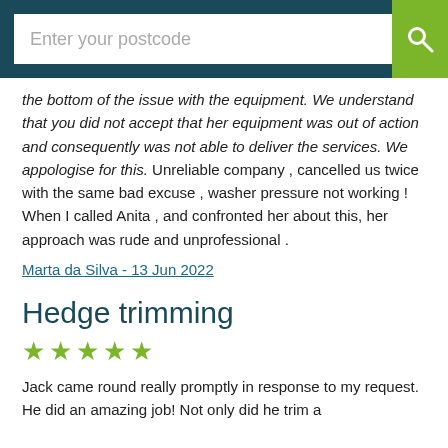Enter your postcode
the bottom of the issue with the equipment. We understand that you did not accept that her equipment was out of action and consequently was not able to deliver the services. We appologise for this. Unreliable company , cancelled us twice with the same bad excuse , washer pressure not working ! When I called Anita , and confronted her about this, her approach was rude and unprofessional .
Marta da Silva - 13 Jun 2022
Hedge trimming
★★★★★
Jack came round really promptly in response to my request. He did an amazing job! Not only did he trim a